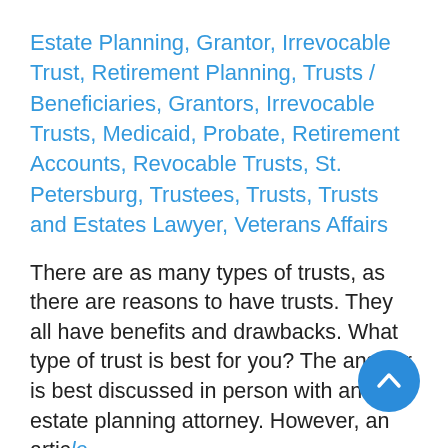Estate Planning, Grantor, Irrevocable Trust, Retirement Planning, Trusts / Beneficiaries, Grantors, Irrevocable Trusts, Medicaid, Probate, Retirement Accounts, Revocable Trusts, St. Petersburg, Trustees, Trusts, Trusts and Estates Lawyer, Veterans Affairs
There are as many types of trusts, as there are reasons to have trusts. They all have benefits and drawbacks. What type of trust is best for you? The answer is best discussed in person with an estate planning attorney. However, an article from U.S. News & World Report titled "Things to Know About Trusts," gives a good overview.